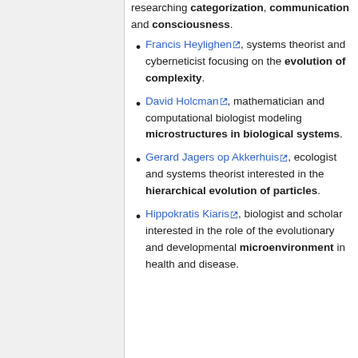researching categorization, communication and consciousness.
Francis Heylighen, systems theorist and cyberneticist focusing on the evolution of complexity.
David Holcman, mathematician and computational biologist modeling microstructures in biological systems.
Gerard Jagers op Akkerhuis, ecologist and systems theorist interested in the hierarchical evolution of particles.
Hippokratis Kiaris, biologist and scholar interested in the role of the evolutionary and developmental microenvironment in health and disease.